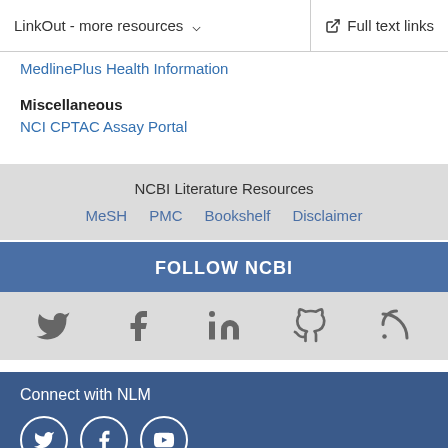LinkOut - more resources  ∨   Full text links
MedlinePlus Health Information
Miscellaneous
NCI CPTAC Assay Portal
NCBI Literature Resources  MeSH  PMC  Bookshelf  Disclaimer
FOLLOW NCBI
[Figure (other): Social media icons: Twitter, Facebook, LinkedIn, GitHub, RSS feed]
Connect with NLM
[Figure (other): NLM social media icon circles: Twitter, Facebook, YouTube]